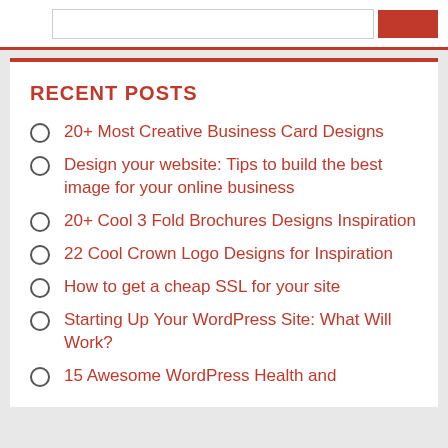RECENT POSTS
20+ Most Creative Business Card Designs
Design your website: Tips to build the best image for your online business
20+ Cool 3 Fold Brochures Designs Inspiration
22 Cool Crown Logo Designs for Inspiration
How to get a cheap SSL for your site
Starting Up Your WordPress Site: What Will Work?
15 Awesome WordPress Health and